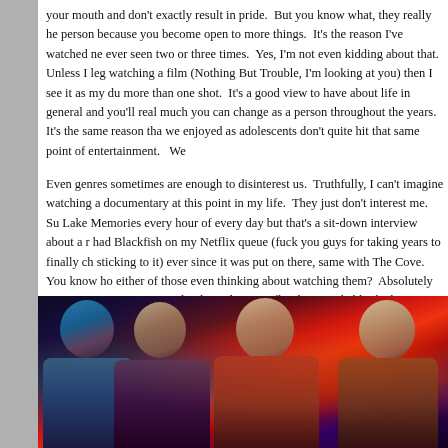your mouth and don't exactly result in pride.  But you know what, they really he person because you become open to more things.  It's the reason I've watched ne ever seen two or three times.  Yes, I'm not even kidding about that.  Unless I leg watching a film (Nothing But Trouble, I'm looking at you) then I see it as my du more than one shot.  It's a good view to have about life in general and you'll real much you can change as a person throughout the years.  It's the same reason tha we enjoyed as adolescents don't quite hit that same point of entertainment.   We
Even genres sometimes are enough to disinterest us.  Truthfully, I can't imagine watching a documentary at this point in my life.  They just don't interest me.  Su Lake Memories every hour of every day but that's a sit-down interview about a r had Blackfish on my Netflix queue (fuck you guys for taking years to finally ch sticking to it) ever since it was put on there, same with The Cove.  You know ho either of those even thinking about watching them?  Absolutely never.  But yet t queue until either I do or Netflix dies.  Probably the latter.  My point is, people c tastes.  There's the most long-winded way of getting to the point possible.  Your
[Figure (photo): Four women standing together in a dark, colorful scene with red and blue lighting, appearing to be from a TV show or movie still.]